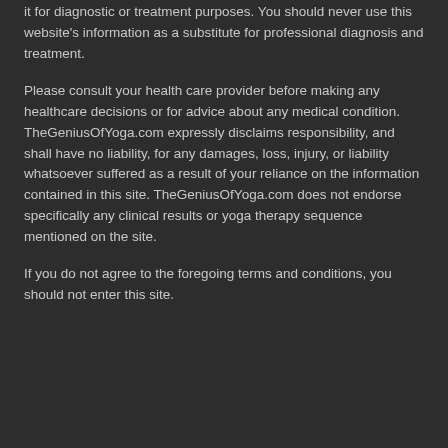it for diagnostic or treatment purposes. You should never use this website's information as a substitute for professional diagnosis and treatment.
Please consult your health care provider before making any healthcare decisions or for advice about any medical condition. TheGeniusOfYoga.com expressly disclaims responsibility, and shall have no liability, for any damages, loss, injury, or liability whatsoever suffered as a result of your reliance on the information contained in this site. TheGeniusOfYoga.com does not endorse specifically any clinical results or yoga therapy sequence mentioned on the site.
If you do not agree to the foregoing terms and conditions, you should not enter this site.